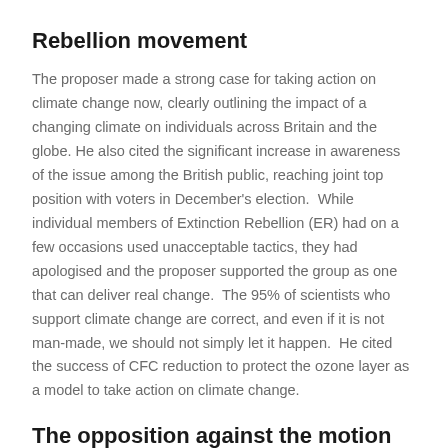Rebellion movement
The proposer made a strong case for taking action on climate change now, clearly outlining the impact of a changing climate on individuals across Britain and the globe. He also cited the significant increase in awareness of the issue among the British public, reaching joint top position with voters in December's election.  While individual members of Extinction Rebellion (ER) had on a few occasions used unacceptable tactics, they had apologised and the proposer supported the group as one that can deliver real change.  The 95% of scientists who support climate change are correct, and even if it is not man-made, we should not simply let it happen.  He cited the success of CFC reduction to protect the ozone layer as a model to take action on climate change.
The opposition against the motion